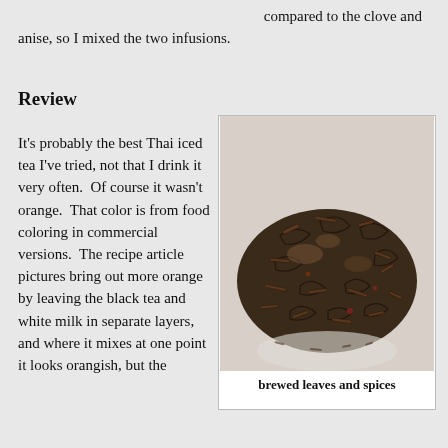compared to the clove and anise, so I mixed the two infusions.
Review
It's probably the best Thai iced tea I've tried, not that I drink it very often.  Of course it wasn't orange.  That color is from food coloring in commercial versions.  The recipe article pictures bring out more orange by leaving the black tea and white milk in separate layers, and where it mixes at one point it looks orangish, but the
[Figure (photo): A pile of brewed tea leaves and spices, dark brown in color, on a white background.]
brewed leaves and spices